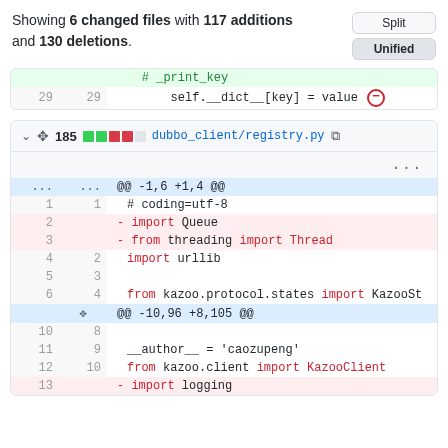Showing 6 changed files with 117 additions and 130 deletions.
[Figure (screenshot): Code diff view showing partial file, line 29: self.__dict__[key] = value with a red minus circle icon]
[Figure (screenshot): Code diff view for dubbo_client/registry.py showing 185 changes, with hunks: @@ -1,6 +1,4 @@ removing 'import Queue' and 'from threading import Thread', and @@ -10,96 +8,105 @@ showing lines 10-13 including __author__ = 'caozupeng', from kazoo.client import KazooClient, - import logging]